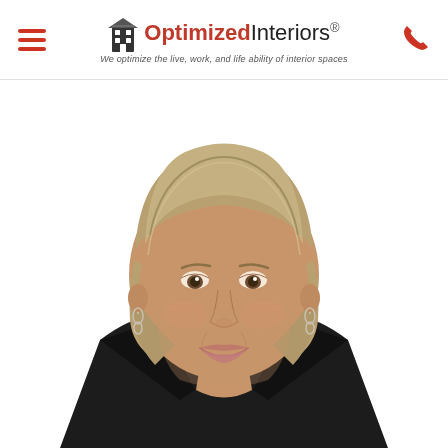Optimized Interiors® — We optimize the live, work, and life ability of interior spaces
[Figure (photo): Professional headshot of a middle-aged woman with short blonde hair, wearing a black blazer, smiling, white background. She has silver drop earrings.]